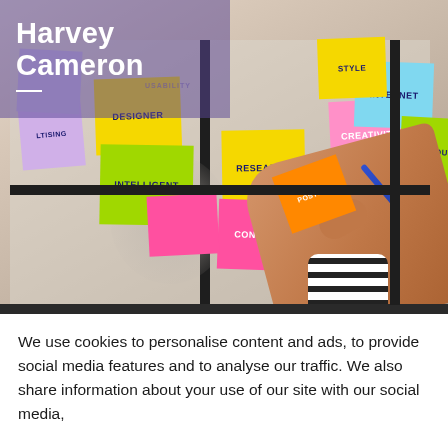[Figure (photo): Person placing sticky notes with brainstorming keywords (DESIGNER, RESEARCH, INTELLIGENT, CONCEPT, CREATIVITY, INTERNET, PRODUCT, etc.) on a glass window/board, with Harvey Cameron logo overlaid in top-left corner.]
We use cookies to personalise content and ads, to provide social media features and to analyse our traffic. We also share information about your use of our site with our social media, advertising and analytics partners.